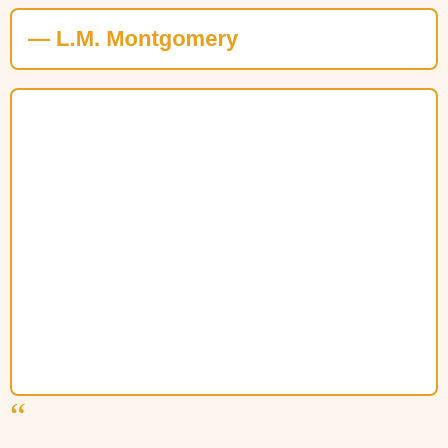— L.M. Montgomery
[Figure (other): Empty white box with orange border, likely a space for an image or content]
“